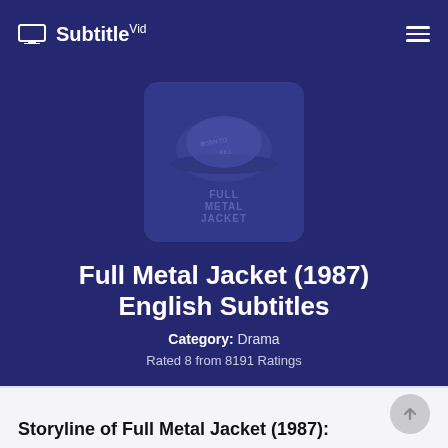SubtitleVid
[Figure (illustration): Full Metal Jacket movie poster thumbnail showing a soldier's helmet with text 'Full Metal Jacket' below it, displayed in a rounded rectangle card]
Full Metal Jacket (1987) English Subtitles
Category: Drama
Rated 8 from 8191 Ratings
Storyline of Full Metal Jacket (1987):